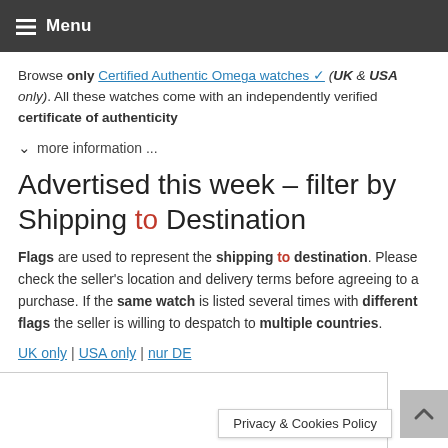Menu
Browse only Certified Authentic Omega watches ✓ (UK & USA only). All these watches come with an independently verified certificate of authenticity
more information ...
Advertised this week – filter by Shipping to Destination
Flags are used to represent the shipping to destination. Please check the seller's location and delivery terms before agreeing to a purchase. If the same watch is listed several times with different flags the seller is willing to despatch to multiple countries.
UK only | USA only | nur DE
Privacy & Cookies Policy